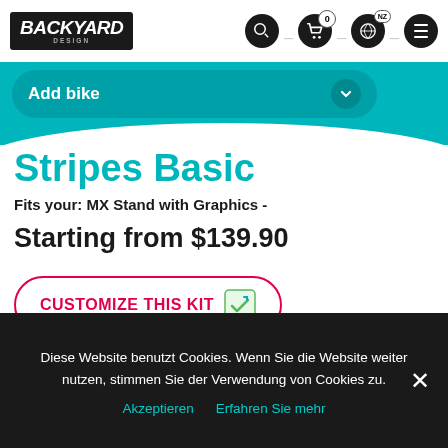[Figure (screenshot): Backyard Design website header with logo and navigation icons including search, cart (0), globe (NZ), and menu]
Add bike
Stripes Basic
Fits your: MX Stand with Graphics -
Starting from $139.90
CUSTOMIZE THIS KIT
Diese Website benutzt Cookies. Wenn Sie die Website weiter nutzen, stimmen Sie der Verwendung von Cookies zu.
Akzeptieren  Erfahren Sie mehr